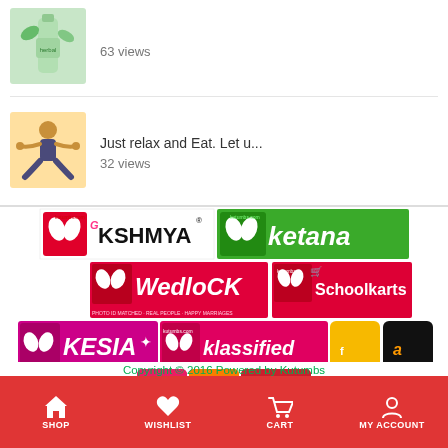63 views
Just relax and Eat. Let u...
32 views
[Figure (logo): Kutumbs partner network logos including Kshmya, Ketana, Wedlock, Schoolkarts, Kesia, Klassified, Flipkart, Amazon, Swiggy, Zomato]
Copyright © 2016 Powered by Kutumbs
SHOP  WISHLIST  CART  MY ACCOUNT